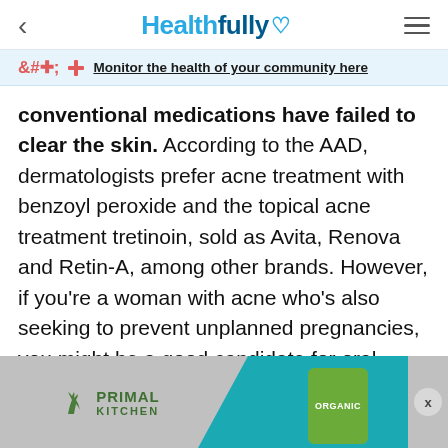Healthfully
Monitor the health of your community here
conventional medications have failed to clear the skin. According to the AAD, dermatologists prefer acne treatment with benzoyl peroxide and the topical acne treatment tretinoin, sold as Avita, Renova and Retin-A, among other brands. However, if you're a woman with acne who's also seeking to prevent unplanned pregnancies, you might be a good candidate for oral contraceptives such as Marvelon.
[Figure (other): Primal Kitchen advertisement banner at bottom of page showing Primal Kitchen logo and an organic product bottle against a teal background]